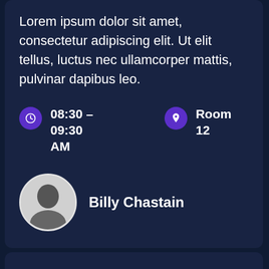Lorem ipsum dolor sit amet, consectetur adipiscing elit. Ut elit tellus, luctus nec ullamcorper mattis, pulvinar dapibus leo.
08:30 – 09:30 AM
Room 12
Billy Chastain